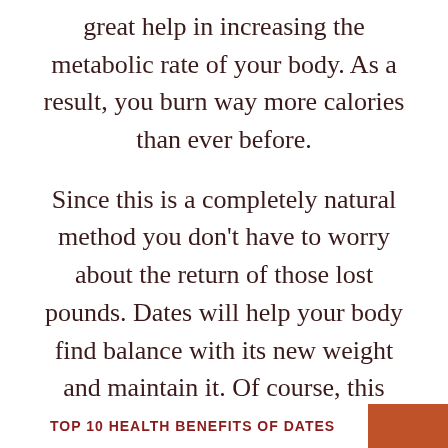great help in increasing the metabolic rate of your body. As a result, you burn way more calories than ever before.
Since this is a completely natural method you don't have to worry about the return of those lost pounds. Dates will help your body find balance with its new weight and maintain it. Of course, this trick won't work if you're planning to eat tons of junk food and sugary meals along with dates. The healthier your lifestyle is the more noticeable results and dates will give you.
TOP 10 HEALTH BENEFITS OF DATES